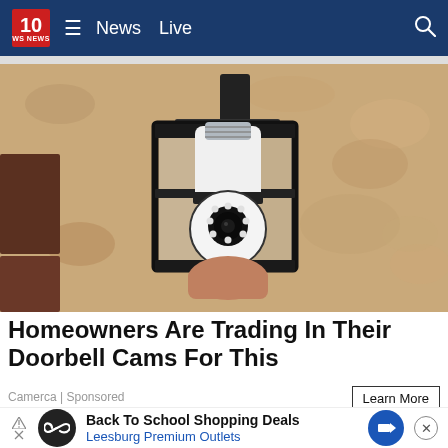10 WS News  ≡  News  Live  🔍
[Figure (photo): A security camera shaped like a light bulb installed inside a black lantern-style outdoor wall light fixture mounted on a textured stucco wall.]
Homeowners Are Trading In Their Doorbell Cams For This
Camerca | Sponsored
Learn More
Back To School Shopping Deals
Leesburg Premium Outlets